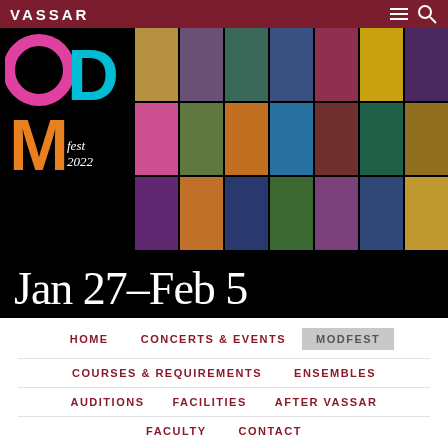VASSAR
[Figure (photo): MODfest 2022 logo with colorful O, D, and M letters in pink, cyan, orange, alongside a grid of 21 musician portrait photos with color overlays, and date text 'Jan 27–Feb 5' below on black background]
HOME
CONCERTS & EVENTS
MODFEST
COURSES & REQUIREMENTS
ENSEMBLES
AUDITIONS
FACILITIES
AFTER VASSAR
FACULTY
CONTACT